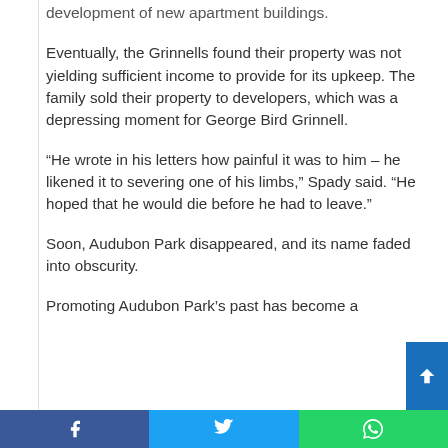development of new apartment buildings.
Eventually, the Grinnells found their property was not yielding sufficient income to provide for its upkeep. The family sold their property to developers, which was a depressing moment for George Bird Grinnell.
“He wrote in his letters how painful it was to him – he likened it to severing one of his limbs,” Spady said. “He hoped that he would die before he had to leave.”
Soon, Audubon Park disappeared, and its name faded into obscurity.
Promoting Audubon Park’s past has become a